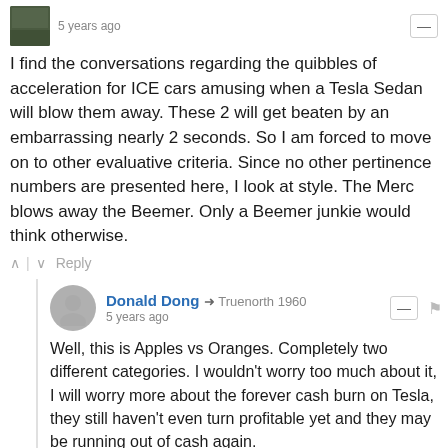5 years ago
I find the conversations regarding the quibbles of acceleration for ICE cars amusing when a Tesla Sedan will blow them away. These 2 will get beaten by an embarrassing nearly 2 seconds. So I am forced to move on to other evaluative criteria. Since no other pertinence numbers are presented here, I look at style. The Merc blows away the Beemer. Only a Beemer junkie would think otherwise.
^ | v Reply
Donald Dong → Truenorth 1960
5 years ago
Well, this is Apples vs Oranges. Completely two different categories. I wouldn't worry too much about it, I will worry more about the forever cash burn on Tesla, they still haven't even turn profitable yet and they may be running out of cash again.
^ | v Reply
This comment was deleted.
Donald Dong → Guest